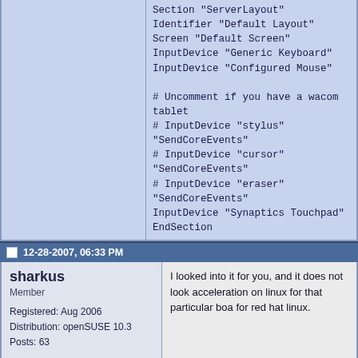Section "ServerLayout"
Identifier "Default Layout"
Screen "Default Screen"
InputDevice "Generic Keyboard"
InputDevice "Configured Mouse"

# Uncomment if you have a wacom tablet
# InputDevice "stylus" "SendCoreEvents"
# InputDevice "cursor" "SendCoreEvents"
# InputDevice "eraser" "SendCoreEvents"
InputDevice "Synaptics Touchpad"
EndSection
Last edited by MrMJS; 12-28-2007 at 06:57 PM.
12-28-2007, 06:33 PM
sharkus
Member
Registered: Aug 2006
Distribution: openSUSE 10.3
Posts: 63
Rep:
I looked into it for you, and it does not look acceleration on linux for that particular boa for red hat linux.
12-28-2007, 06:34 PM
sharkus
I forgot to mention, without 3d acceleration